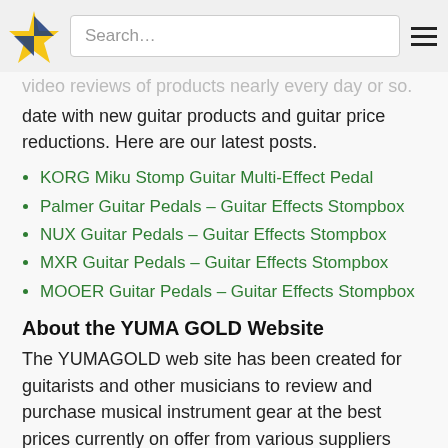Search…
video reviews of products nearly every day or so. … date with new guitar products and guitar price reductions. Here are our latest posts.
KORG Miku Stomp Guitar Multi-Effect Pedal
Palmer Guitar Pedals – Guitar Effects Stompbox
NUX Guitar Pedals – Guitar Effects Stompbox
MXR Guitar Pedals – Guitar Effects Stompbox
MOOER Guitar Pedals – Guitar Effects Stompbox
About the YUMA GOLD Website
The YUMAGOLD web site has been created for guitarists and other musicians to review and purchase musical instrument gear at the best prices currently on offer from various suppliers around the world. The